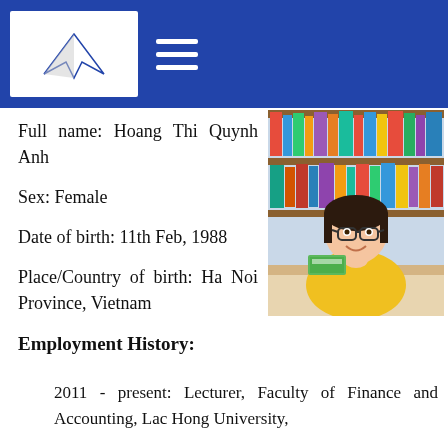Full name: Hoang Thi Quynh Anh
[Figure (photo): Portrait photo of a young woman with glasses and a yellow shirt, sitting at a library desk with books in the background, smiling at the camera.]
Sex: Female
Date of birth: 11th Feb, 1988
Place/Country of birth: Ha Noi Province, Vietnam
Employment History:
2011 - present: Lecturer, Faculty of Finance and Accounting, Lac Hong University,